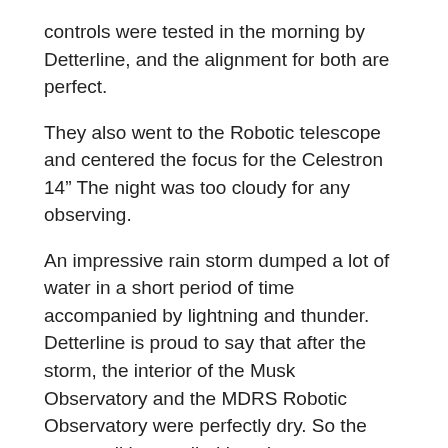controls were tested in the morning by Detterline, and the alignment for both are perfect.
They also went to the Robotic telescope and centered the focus for the Celestron 14” The night was too cloudy for any observing.
An impressive rain storm dumped a lot of water in a short period of time accompanied by lightning and thunder. Detterline is proud to say that after the storm, the interior of the Musk Observatory and the MDRS Robotic Observatory were perfectly dry. So the new caulking applied just days ago, worked well. Last year they had an issue where water seeped inside the Robotic Observatory and destroyed an adapter component of the weather station.
Today was the most boring day on Mars. Due to high